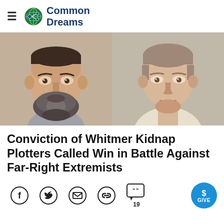Common Dreams
[Figure (photo): Two mugshot photos side by side: left shows a middle-aged man with dark salt-and-pepper beard wearing a gray shirt; right shows a younger man with short light hair wearing a cream/white shirt.]
Conviction of Whitmer Kidnap Plotters Called Win in Battle Against Far-Right Extremists
[Figure (infographic): Social share bar with Facebook, Twitter, email, link, comment (19), and GIVE button icons.]